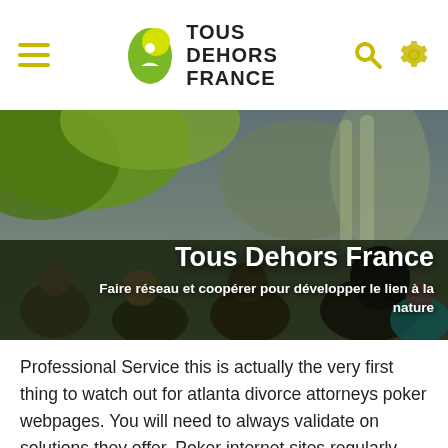TOUS DEHORS FRANCE
[Figure (photo): Outdoor photo of children sitting under green trees, with mountains in the background. Overlaid white text reads 'Tous Dehors France' and 'Faire réseau et coopérer pour développer le lien à la nature'.]
Tous Dehors France
Faire réseau et coopérer pour développer le lien à la nature
Professional Service this is actually the very first thing to watch out for atlanta divorce attorneys poker webpages. You will need to always validate on solutions they offer. Poker internet sites regularly give